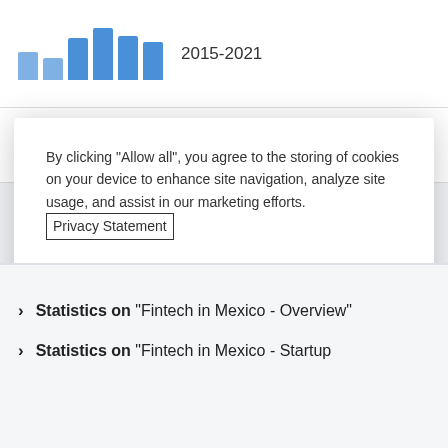[Figure (screenshot): Partial view of a bar chart with blue bars and the text '2015-2021']
[Figure (screenshot): Partially visible row with a green plus button and partial text 'Global ... fintech adoption rate']
By clicking “Allow all”, you agree to the storing of cookies on your device to enhance site navigation, analyze site usage, and assist in our marketing efforts. Privacy Statement
Allow all
Cookie Consent Manager
Statistics on “Fintech in Mexico - Overview”
Statistics on “Fintech in Mexico - Startup